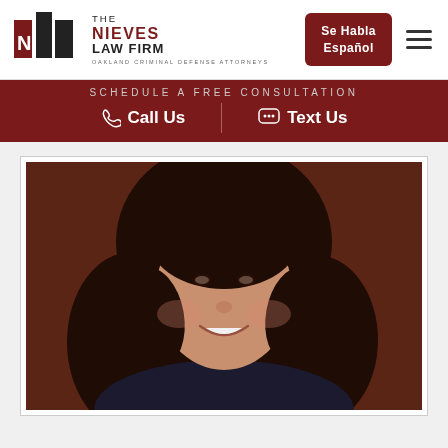[Figure (logo): The Nieves Law Firm logo — NLF icon with red and black squares, text 'THE NIEVES LAW FIRM', tagline 'OAKLAND CRIMINAL DEFENSE ATTORNEYS']
Se Habla Español
SCHEDULE A FREE CONSULTATION
Call Us
Text Us
[Figure (photo): Professional headshot of a young woman with curly brown hair, smiling, against a dark brown background]